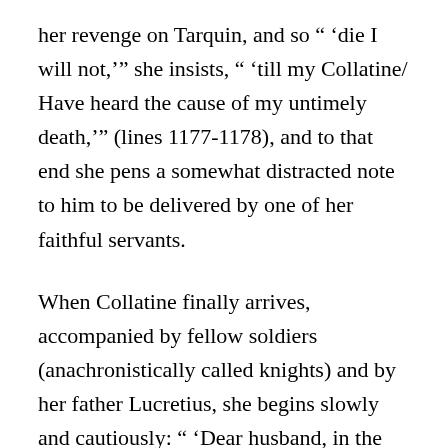her revenge on Tarquin, and so " ‘die I will not,’ " she insists, " ‘till my Collatine/ Have heard the cause of my untimely death,’ " (lines 1177-1178), and to that end she pens a somewhat distracted note to him to be delivered by one of her faithful servants.
When Collatine finally arrives, accompanied by fellow soldiers (anachronistically called knights) and by her father Lucretius, she begins slowly and cautiously: " ‘Dear husband, in the interest of thy bed/ A stranger came, and on that pillow lay/ Where thou wast wont to rest thy weary head’ " (lines 1619-1621). Then she introduces the violent details: the “stranger’s” brandishing of his sword; the throat that